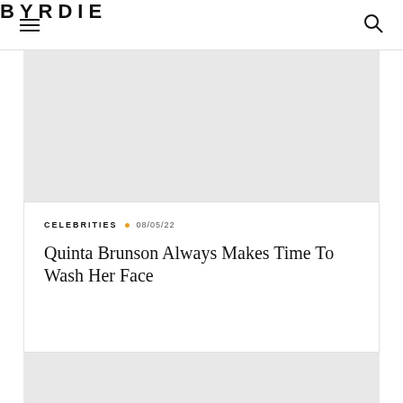BYRDIE
[Figure (other): Light gray placeholder image area at top]
CELEBRITIES · 08/05/22
Quinta Brunson Always Makes Time To Wash Her Face
[Figure (other): Light gray placeholder image area at bottom]